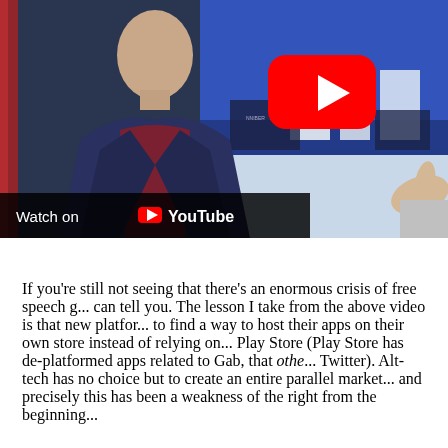[Figure (screenshot): A YouTube video thumbnail showing a man in a dark blazer and maroon shirt in a TV studio setting, with a large red YouTube play button overlay in the upper right. At the bottom left is a 'Watch on YouTube' label bar.]
If you're still not seeing that there's an enormous crisis of free speech g... can tell you. The lesson I take from the above video is that new platfor... to find a way to host their apps on their own store instead of relying on... Play Store (Play Store has de-platformed apps related to Gab, that othe... Twitter). Alt-tech has no choice but to create an entire parallel market... and precisely this has been a weakness of the right from the beginning...